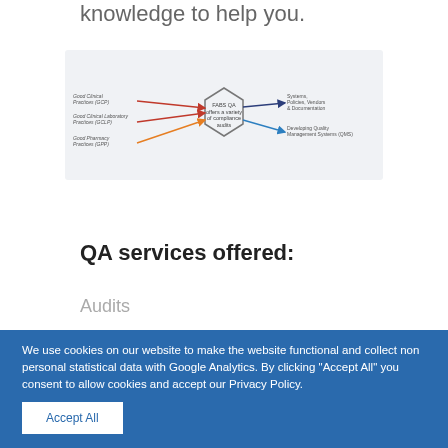knowledge to help you.
[Figure (flowchart): Diagram showing FABS QA offers a variety of compliance audits, with inputs from Good Clinical Practices (GCP), Good Clinical Laboratory Practices (GCLP), Good Pharmacy Practices (GPP), and outputs to Systems, Policies, Vendors & Documentation, and Developing Quality Management Systems (QMS).]
QA services offered:
Audits
We use cookies on our website to make the website functional and collect non personal statistical data with Google Analytics. By clicking "Accept All" you consent to allow cookies and accept our Privacy Policy.